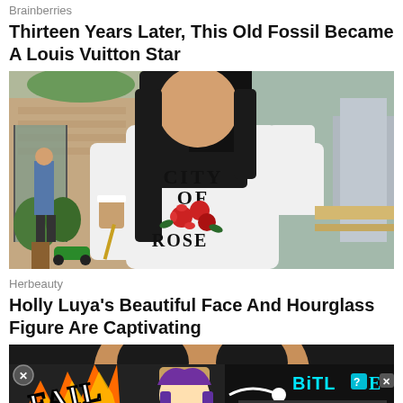Brainberries
Thirteen Years Later, This Old Fossil Became A Louis Vuitton Star
[Figure (photo): Woman with long black hair wearing a white long-sleeve shirt with 'CITY OF ROSES' text and rose graphic on the back, holding a coffee cup, standing outside a cafe/restaurant]
Herbeauty
Holly Luya's Beautiful Face And Hourglass Figure Are Captivating
[Figure (photo): Partially visible photo of a person's face, overlaid with a BitLife game advertisement banner showing 'FAIL' text and 'START A NEW LIFE' tagline]